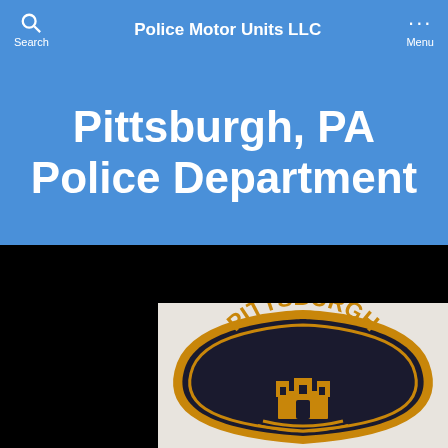Police Motor Units LLC
Pittsburgh, PA Police Department
[Figure (photo): Pittsburgh Police Department embroidered shoulder patch with gold lettering on black background, shield shape with castle emblem]